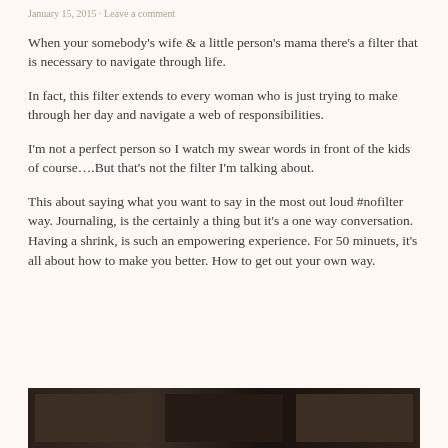January 15, 2015 · Leave a comment
When your somebody's wife & a little person's mama there's a filter that is necessary to navigate through life.
In fact, this filter extends to every woman who is just trying to make through her day and navigate a web of responsibilities.
I'm not a perfect person so I watch my swear words in front of the kids of course….But that's not the filter I'm talking about.
This about saying what you want to say in the most out loud #nofilter way. Journaling, is the certainly a thing but it's a one way conversation. Having a shrink, is such an empowering experience. For 50 minuets, it's all about how to make you better. How to get out your own way.
[Figure (photo): Dark photo strip at the bottom of the page showing framed pictures or objects in low light]